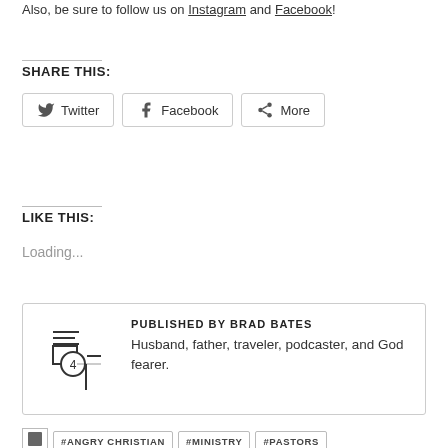Also, be sure to follow us on Instagram and Facebook!
SHARE THIS:
[Figure (other): Share buttons: Twitter, Facebook, More]
LIKE THIS:
Loading...
PUBLISHED BY BRAD BATES
Husband, father, traveler, podcaster, and God fearer.
#ANGRY CHRISTIAN
#MINISTRY
#PASTORS